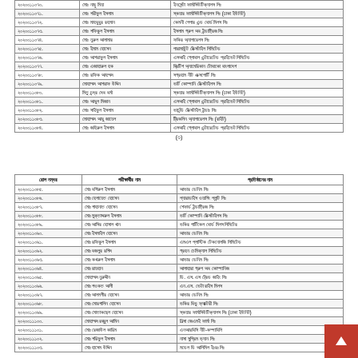| রোল নম্বর | পরীক্ষার্থীর নাম | প্রতিষ্ঠানের নাম |
| --- | --- | --- |
| ২০২০০১১০৭০. | মোঃ নাছু মিয়া | ইনসেন্টা ফার্মাসিউটিক্যালস লিঃ |
| ২০২০০১১০৭১. | মোঃ শরীফুল ইসলাম | স্কয়ার ফার্মাসিউটিক্যালস লিঃ (ঢাকা ইউনিট) |
| ২০২০০১১০৭২. | মোঃ মাহবুবুর রহমান | কেমনী পেপার এন্ড বোর্ড মিলস লিঃ |
| ২০২০০১১০৭৩. | মোঃ শফিকুল ইসলাম | ইসলাম গ্রুপ অব ইন্ডাষ্ট্রিজ লিঃ |
| ২০২০০১১০৭৪. | মোঃ নুরুল আলামার | ফকির অ্যাপারেলস লিঃ |
| ২০২০০১১০৭৫. | মোঃ ইমাম হোসেন | পারামাউন্ট টেক্সটাইল লিমিটেড |
| ২০২০০১১০৭৬. | মোঃ আশরাফুল ইসলাম | এসআই গ্লোবাল এন্টারেটেড প্রাইভেট লিমিটেড |
| ২০২০০১১০৭৭. | মোঃ এজাহারুল হক | ব্রিটিশ অ্যামেরিকান টোবাকো বাংলাদেশ |
| ২০২০০১১০৭৮. | মোঃ রফিক আহম্মদ | সগ্রহাম নীট এক্সপোর্টি লিঃ |
| ২০২০০১১০৭৯. | মোহাম্মদ আশরাফ উদ্দিন | ভার্ট কোম্পানি টেক্সটাইলস লিঃ |
| ২০২০০১১০৮০. | মিতু চন্দ্র দেব বর্মা | স্কয়ার ফার্মাসিউটিক্যালস লিঃ (ঢাকা ইউনিট) |
| ২০২০০১১০৮১. | মোঃ আবুল মিজান | এসআই গ্লোবাল এন্টারেটেড প্রাইভেট লিমিটেড |
| ২০২০০১১০৮২. | মোঃ সাইফুল ইসলাম | ভার্চন্ডি টেক্সটাইল ইন্ডাঃ লিঃ |
| ২০২০০১১০৮৩. | মোহাম্মদ আবু জায়েল | ট্রিকলিন অ্যাপারেলস লিঃ (রাইট) |
| ২০২০০১১০৮৪. | মোঃ জহিরুল ইসলাম | এসআই গ্লোবাল এন্টারেটেড প্রাইভেট লিমিটেড |
(৩)
| রোল নম্বর | পরীক্ষার্থীর নাম | প্রতিষ্ঠানের নাম |
| --- | --- | --- |
| ২০২০০১১০৮৫. | মোঃ বশিরুল ইসলাম | আভার ডেনিম লিঃ |
| ২০২০০১১০৮৬. | মোঃ হেলায়েত হোসেন | প্যারাডাইস ওয়াশিং প্লান্ট লিঃ |
| ২০২০০১১০৮৭. | মোঃ শাহানাত হোসেন | শেফার্ড ইন্ডাষ্ট্রিজ লিঃ |
| ২০২০০১১০৮৮. | মোঃ মুক্তাদ্দরুল ইসলাম | ভার্ট কোম্পানি টেক্সটাইলস লিঃ |
| ২০২০০১১০৮৯. | মোঃ আসির হোসাল খান | ভকির পার্টিকেল বোর্ড মিলস লিমিটের |
| ২০২০০১১০৯০. | মোঃ ইসমাইল হোসেন | আভার ডেনিম লিঃ |
| ২০২০০১১০৯১. | মোঃ রফিকুল ইসলাম | এমএল প্লাস্টিক টেকনোলজি লিমিটেড |
| ২০২০০১১০৯২. | মোঃ বজলুর রশিদ | গ্রহন চেমিক্যাল লিমিটেড |
| ২০২০০১১০৯৩. | মোঃ কখরুল ইসলাম | আভার ডেনিম লিঃ |
| ২০২০০১১০৯৪. | মোঃ রায়হান | আলাহারা গ্রুপ অব কোম্পানিজ |
| ২০২০০১১০৯৫. | মোহাম্মদ নুরুদ্দীন | ডি. এস. এস ট্রেড জাইং লিঃ |
| ২০২০০১১০৯৬. | মোঃ শওকত আলী | এন.এস. ভেটা রাইস মিলস |
| ২০২০০১১০৯৭. | মোঃ আলমগীর হোসেন | আভার ডেনিম লিঃ |
| ২০২০০১১০৯৮. | মোঃ মোরশালিন হোসেন | ভকির বিভু ফ্যাক্টরী লিঃ |
| ২০২০০১১০৯৯. | মোঃ মোতাকছেল হোসেন | স্কয়ার ফার্মাসিউটিক্যালস লিঃ (ঢাকা ইউনিট) |
| ২০২০০১১১০০. | মোহাম্মদ রব্বুল আমিন | নিল্সা জেএমই ফার্মা লিঃ |
| ২০২০০১১১০১. | মোঃ রেজাউল কারিম | এনআরবিসি নীট-কম্পাবিলি |
| ২০২০০১১১০২. | মোঃ শরিফুল ইসলাম | নাসা সুপ্রিম ভ্যান লিঃ |
| ২০২০০১১১০৩. | মোঃ হাসেম উদ্দিন | মডেল ডি আলিমিল ইঃরঃ লিঃ |